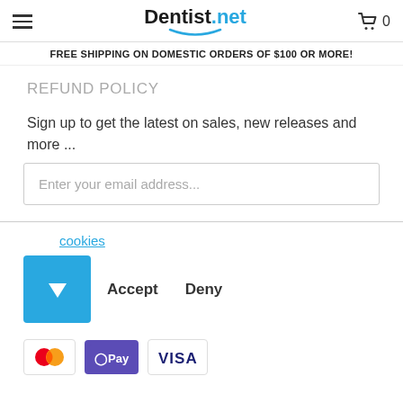Dentist.net — hamburger menu, cart 0
FREE SHIPPING ON DOMESTIC ORDERS OF $100 OR MORE!
REFUND POLICY
Sign up to get the latest on sales, new releases and more ...
Enter your email address...
cookies
[Figure (other): Blue square button with downward arrow/dropdown indicator, with Accept and Deny text buttons to the right]
[Figure (other): Payment method icons: Mastercard, Apple Pay (OPay style), Visa]